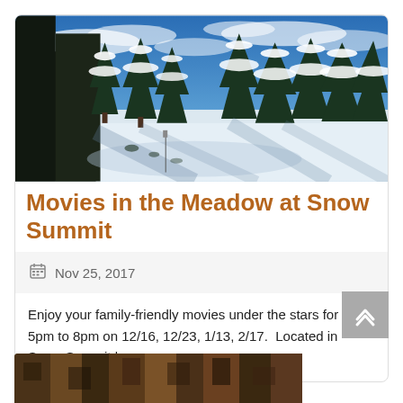[Figure (photo): Snow-covered meadow landscape with pine trees under a blue sky with clouds, at Snow Summit ski resort]
Movies in the Meadow at Snow Summit
Nov 25, 2017
Enjoy your family-friendly movies under the stars for free. 5pm to 8pm on 12/16, 12/23, 1/13, 2/17.  Located in Snow Summit base area.
[Figure (photo): Partial view of another event image at the bottom of the page]